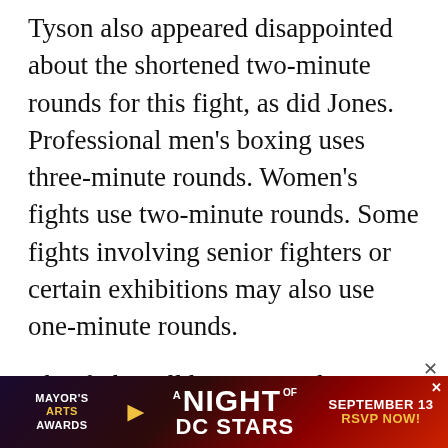Tyson also appeared disappointed about the shortened two-minute rounds for this fight, as did Jones.  Professional men's boxing uses three-minute rounds. Women's fights use two-minute rounds. Some fights involving senior fighters or certain exhibitions may also use one-minute rounds.
This fight will be contested over eight two-minute rounds as per the rules of the California State Athletic Commission. Both men stressed the smaller, 12-ounce gloves and lack of headgear as part of the reason that, from their perspective, this is no
[Figure (other): Advertisement banner for Mayor's Arts Awards: A Night of DC Stars, September 13, RSVP Now!]